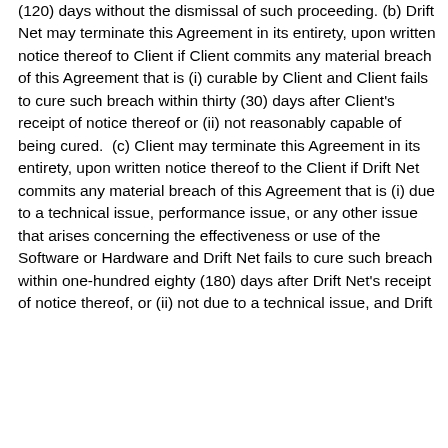(120) days without the dismissal of such proceeding. (b) Drift Net may terminate this Agreement in its entirety, upon written notice thereof to Client if Client commits any material breach of this Agreement that is (i) curable by Client and Client fails to cure such breach within thirty (30) days after Client's receipt of notice thereof or (ii) not reasonably capable of being cured.  (c) Client may terminate this Agreement in its entirety, upon written notice thereof to the Client if Drift Net commits any material breach of this Agreement that is (i) due to a technical issue, performance issue, or any other issue that arises concerning the effectiveness or use of the Software or Hardware and Drift Net fails to cure such breach within one-hundred eighty (180) days after Drift Net's receipt of notice thereof, or (ii) not due to a technical issue, and Drift